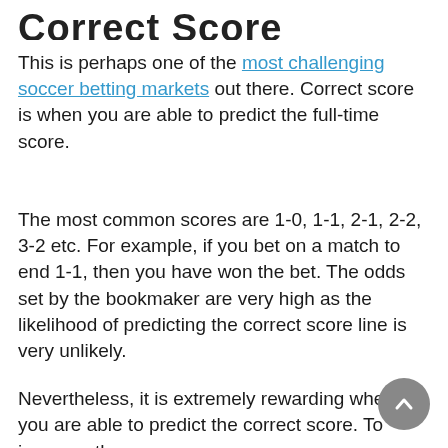Correct Score
This is perhaps one of the most challenging soccer betting markets out there. Correct score is when you are able to predict the full-time score.
The most common scores are 1-0, 1-1, 2-1, 2-2, 3-2 etc. For example, if you bet on a match to end 1-1, then you have won the bet. The odds set by the bookmaker are very high as the likelihood of predicting the correct score line is very unlikely.
Nevertheless, it is extremely rewarding when you are able to predict the correct score. To increase the probability of making a correct score prediction...